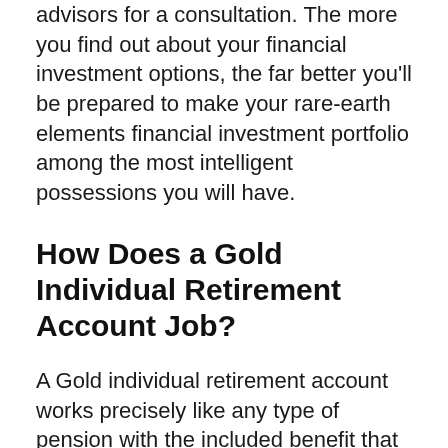advisors for a consultation. The more you find out about your financial investment options, the far better you'll be prepared to make your rare-earth elements financial investment portfolio among the most intelligent possessions you will have.
How Does a Gold Individual Retirement Account Job?
A Gold individual retirement account works precisely like any type of pension with the included benefit that it gives you extra control over your financial investment to consist of physical gold coins as well as bars and also other internal revenue service approved silver, platinum and also palladium metals.